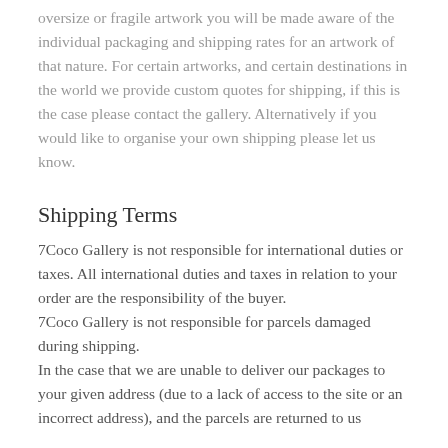oversize or fragile artwork you will be made aware of the individual packaging and shipping rates for an artwork of that nature. For certain artworks, and certain destinations in the world we provide custom quotes for shipping, if this is the case please contact the gallery. Alternatively if you would like to organise your own shipping please let us know.
Shipping Terms
7Coco Gallery is not responsible for international duties or taxes. All international duties and taxes in relation to your order are the responsibility of the buyer. 7Coco Gallery is not responsible for parcels damaged during shipping. In the case that we are unable to deliver our packages to your given address (due to a lack of access to the site or an incorrect address), and the parcels are returned to us